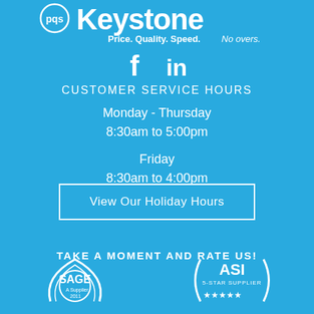[Figure (logo): Keystone logo with tagline 'Price. Quality. Speed. No overs.' on sky blue background]
[Figure (infographic): Facebook and LinkedIn social media icons in white]
CUSTOMER SERVICE HOURS
Monday - Thursday
8:30am to 5:00pm

Friday
8:30am to 4:00pm
View Our Holiday Hours
TAKE A MOMENT AND RATE US!
[Figure (logo): SAGE Supplier 2011 logo in white]
[Figure (logo): ASI 5-Star Supplier logo with 5 stars in white]